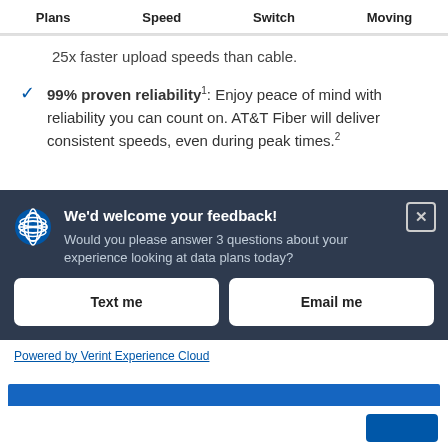Plans   Speed   Switch   Moving
25x faster upload speeds than cable.
99% proven reliability¹: Enjoy peace of mind with reliability you can count on. AT&T Fiber will deliver consistent speeds, even during peak times.²
We'd welcome your feedback!
Would you please answer 3 questions about your experience looking at data plans today?
Text me
Email me
Powered by Verint Experience Cloud